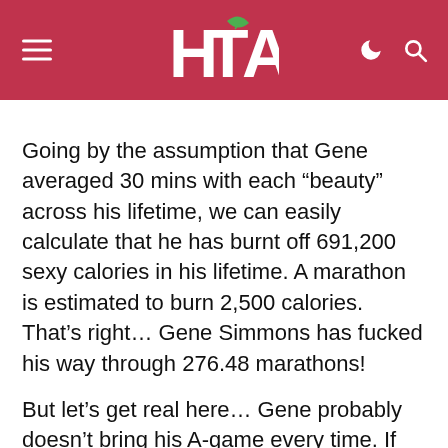HTA (logo)
Going by the assumption that Gene averaged 30 mins with each “beauty” across his lifetime, we can easily calculate that he has burnt off 691,200 sexy calories in his lifetime. A marathon is estimated to burn 2,500 calories. That’s right… Gene Simmons has fucked his way through 276.48 marathons!
But let’s get real here… Gene probably doesn’t bring his A-game every time. If he was a one minute wonder, he would still manage to burn off 9.2 Marathons worth of sexy energy